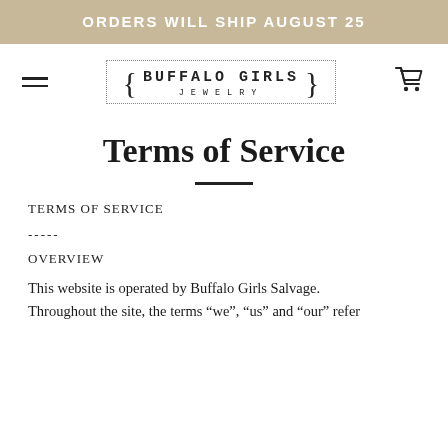ORDERS WILL SHIP AUGUST 25
[Figure (logo): Buffalo Girls Jewelry logo with curly braces and dotted border, with hamburger menu icon and cart icon in navigation bar]
Terms of Service
TERMS OF SERVICE
-----
OVERVIEW
This website is operated by Buffalo Girls Salvage. Throughout the site, the terms “we”, “us” and “our” refer